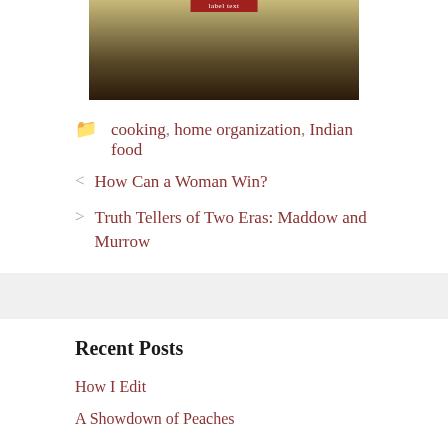[Figure (photo): Photograph of a bag of grain/seeds (likely Indian spice or lentil packaging) with a red label at the top, shown partially cropped]
cooking, home organization, Indian food
< How Can a Woman Win?
> Truth Tellers of Two Eras: Maddow and Murrow
Recent Posts
How I Edit
A Showdown of Peaches